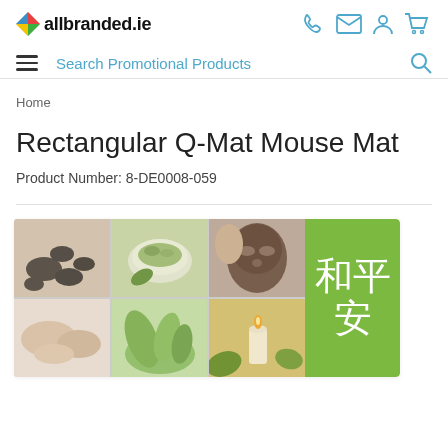allbranded.ie
Search Promotional Products
Home
Rectangular Q-Mat Mouse Mat
Product Number: 8-DE0008-059
[Figure (photo): Product image of a Rectangular Q-Mat Mouse Mat showing a collage of spa/wellness photos on a mouse mat, with a green panel on the right side displaying Chinese characters 和平安]